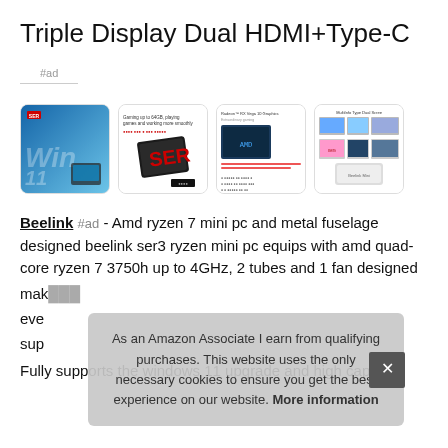Triple Display Dual HDMI+Type-C
#ad
[Figure (photo): Four product thumbnail images of Beelink mini PC showing Windows 11 branding, product shots, graphics specs, and multi-display setup]
Beelink #ad - Amd ryzen 7 mini pc and metal fuselage designed beelink ser3 ryzen mini pc equips with amd quad-core ryzen 7 3750h up to 4GHz, 2 tubes and 1 fan designed make every...supports
Fully supports the windows 11 upgrade and high capacity
As an Amazon Associate I earn from qualifying purchases. This website uses the only necessary cookies to ensure you get the best experience on our website. More information